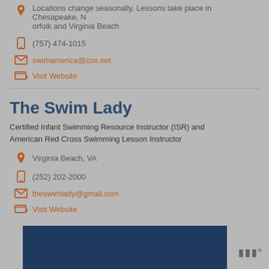Locations change seasonally. Lessons take place in Chesapeake, Norfolk and Virginia Beach
(757) 474-1015
swimamerica@cox.net
Visit Website
The Swim Lady
Certified Infant Swimming Resource Instructor (ISR) and American Red Cross Swimming Lesson Instructor
Virginia Beach, VA
(252) 202-2000
theswimlady@gmail.com
Visit Website
[Figure (other): Dark navy blue banner/advertisement at the bottom of the page]